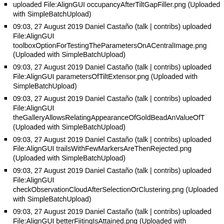uploaded File:AlignGUI occupancyAfterTiltGapFiller.png (Uploaded with SimpleBatchUpload)
09:03, 27 August 2019 Daniel Castaño (talk | contribs) uploaded File:AlignGUI toolboxOptionForTestingTheParametersOnACentralImage.png (Uploaded with SimpleBatchUpload)
09:03, 27 August 2019 Daniel Castaño (talk | contribs) uploaded File:AlignGUI parametersOfTiltExtensor.png (Uploaded with SimpleBatchUpload)
09:03, 27 August 2019 Daniel Castaño (talk | contribs) uploaded File:AlignGUI theGalleryAllowsRelatingAppearanceOfGoldBeadAnValueOfT (Uploaded with SimpleBatchUpload)
09:03, 27 August 2019 Daniel Castaño (talk | contribs) uploaded File:AlignGUI trailsWithFewMarkersAreThenRejected.png (Uploaded with SimpleBatchUpload)
09:03, 27 August 2019 Daniel Castaño (talk | contribs) uploaded File:AlignGUI checkObservationCloudAfterSelectionOrClustering.png (Uploaded with SimpleBatchUpload)
09:03, 27 August 2019 Daniel Castaño (talk | contribs) uploaded File:AlignGUI betterFiitingIsAttained.png (Uploaded with SimpleBatchUpload)
09:03, 27 August 2019 Daniel Castaño (talk | contribs)